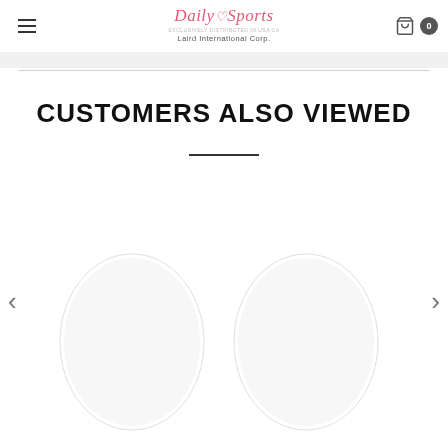Daily Sports - Laird International Corp. — navigation header with hamburger menu and cart icon
CUSTOMERS ALSO VIEWED
[Figure (other): Two circular product image placeholders in a carousel with left and right navigation arrows]